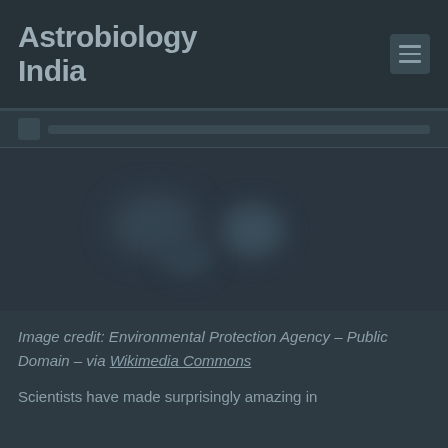Astrobiology India
[Figure (photo): Dark background image, possibly a blurry environmental or scientific photograph. Content largely indistinct due to dark tones.]
Image credit: Environmental Protection Agency – Public Domain – via Wikimedia Commons
Scientists have made surprisingly amazing in...